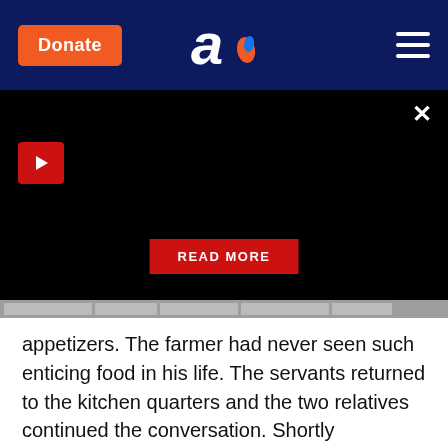Donate | [logo] | [menu]
[Figure (screenshot): Black video player area with a red play button on the left, a close X button at top right, and a red READ MORE button centered near the bottom. Below is a grey progress/chapter bar.]
appetizers. The farmer had never seen such enticing food in his life. The servants returned to the kitchen quarters and the two relatives continued the conversation. Shortly thereafter, the uncle clanged the bell again and the servants reappeared, taking away the old trays and bringing out new ones with the first course. The farmer's eyes bulged. He had never seen such